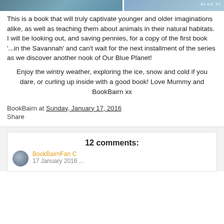[Figure (photo): Partial top image showing what appears to be animals (penguins) with 'BLUE PL...' text visible on the right side]
This is a book that will truly captivate younger and older imaginations alike, as well as teaching them about animals in their natural habitats. I will be looking out, and saving pennies, for a copy of the first book '...in the Savannah' and can't wait for the next installment of the series as we discover another nook of Our Blue Planet!
Enjoy the wintry weather, exploring the ice, snow and cold if you dare, or curling up inside with a good book! Love Mummy and BookBairn xx
BookBairn at Sunday, January 17, 2016
Share
12 comments: